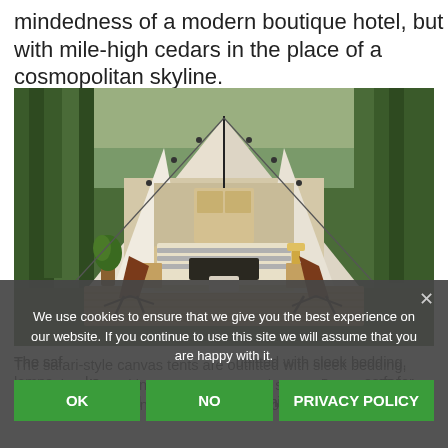mindedness of a modern boutique hotel, but with mile-high cedars in the place of a cosmopolitan skyline.
[Figure (photo): A glamping safari-style tent open at the front, furnished with a bed with striped bedding and a dark throw blanket, two brown leather butterfly chairs on either side, set on a wooden deck platform surrounded by tall cedar trees in a forest setting.]
The safari-style canvas tents are outfitted with sleek bedding, lamps, books, and in some cases, wood stoves for yoga, for communal dining, and for reminiscing around an end-
We use cookies to ensure that we give you the best experience on our website. If you continue to use this site we will assume that you are happy with it.